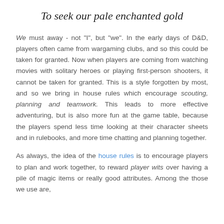To seek our pale enchanted gold
We must away - not "I", but "we". In the early days of D&D, players often came from wargaming clubs, and so this could be taken for granted. Now when players are coming from watching movies with solitary heroes or playing first-person shooters, it cannot be taken for granted. This is a style forgotten by most, and so we bring in house rules which encourage scouting, planning and teamwork. This leads to more effective adventuring, but is also more fun at the game table, because the players spend less time looking at their character sheets and in rulebooks, and more time chatting and planning together.
As always, the idea of the house rules is to encourage players to plan and work together, to reward player wits over having a pile of magic items or really good attributes. Among the those we use are,